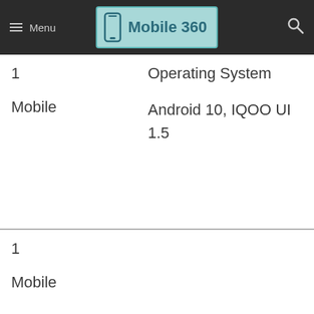Menu | Mobile 360
|  | Operating System |
| --- | --- |
| 1
Mobile | Android 10, IQOO UI 1.5 |
| 1
Mobile |  |
1